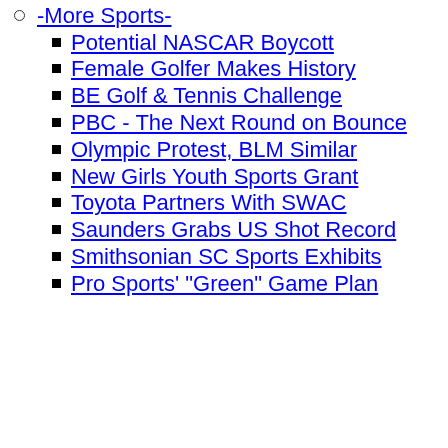-More Sports-
Potential NASCAR Boycott
Female Golfer Makes History
BE Golf & Tennis Challenge
PBC - The Next Round on Bounce
Olympic Protest, BLM Similar
New Girls Youth Sports Grant
Toyota Partners With SWAC
Saunders Grabs US Shot Record
Smithsonian SC Sports Exhibits
Pro Sports' "Green" Game Plan